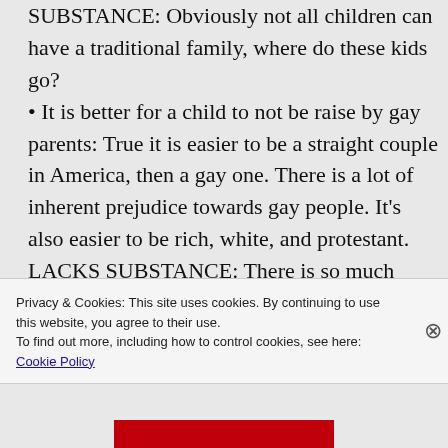SUBSTANCE: Obviously not all children can have a traditional family, where do these kids go? • It is better for a child to not be raise by gay parents: True it is easier to be a straight couple in America, then a gay one. There is a lot of inherent prejudice towards gay people. It's also easier to be rich, white, and protestant. LACKS SUBSTANCE: There is so much
Privacy & Cookies: This site uses cookies. By continuing to use this website, you agree to their use. To find out more, including how to control cookies, see here: Cookie Policy
Close and accept